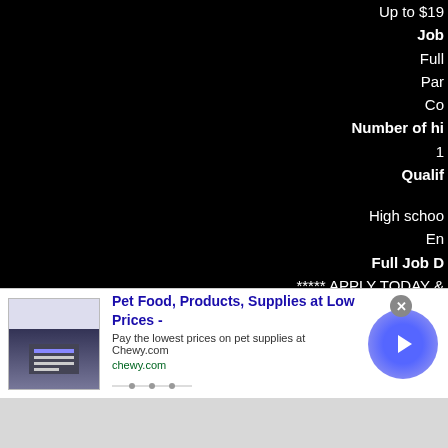Up to $19
Job
Full
Par
Co
Number of hi
1
Qualif
High schoo
En
Full Job D
***** APPLY TODAY &
If you need a job and you're tired of going thro
Call or Text us NO
WHY OUR EMP
· Quick F
· $50 Refe
[Figure (screenshot): infolinks advertisement label in bottom-left corner]
[Figure (screenshot): Pet food advertisement banner: Pet Food, Products, Supplies at Low Prices - chewy.com]